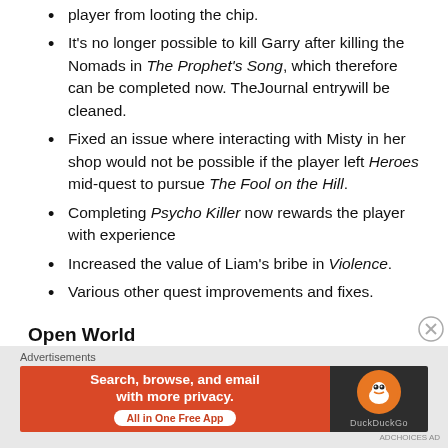player from looting the chip.
It's no longer possible to kill Garry after killing the Nomads in The Prophet's Song, which therefore can be completed now. TheJournal entrywill be cleaned.
Fixed an issue where interacting with Misty in her shop would not be possible if the player left Heroes mid-quest to pursue The Fool on the Hill.
Completing Psycho Killer now rewards the player with experience
Increased the value of Liam's bribe in Violence.
Various other quest improvements and fixes.
Open World
[Figure (screenshot): DuckDuckGo advertisement banner: orange background with text 'Search, browse, and email with more privacy. All in One Free App', and DuckDuckGo logo on dark background.]